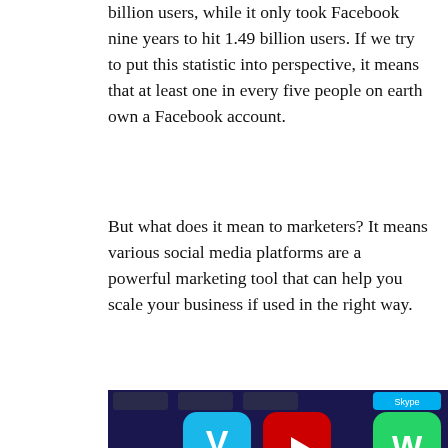billion users, while it only took Facebook nine years to hit 1.49 billion users. If we try to put this statistic into perspective, it means that at least one in every five people on earth own a Facebook account.
But what does it mean to marketers? It means various social media platforms are a powerful marketing tool that can help you scale your business if used in the right way.
[Figure (photo): Close-up photo of a smartphone screen showing a grid of social media app icons including Vine, LinkedIn, Facebook, Twitter, Instagram, YouTube, Tumblr, WhatsApp, Google+, and Pinterest on a dark blue background.]